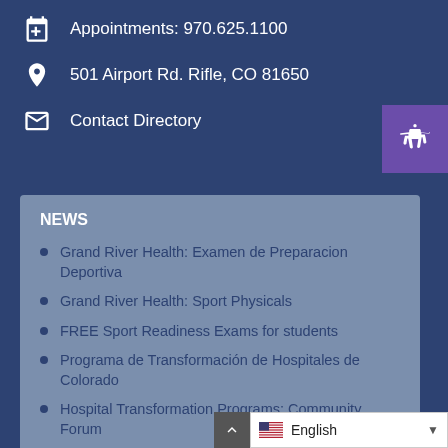Appointments: 970.625.1100
501 Airport Rd. Rifle, CO 81650
Contact Directory
NEWS
Grand River Health: Examen de Preparacion Deportiva
Grand River Health: Sport Physicals
FREE Sport Readiness Exams for students
Programa de Transformación de Hospitales de Colorado
Hospital Transformation Programs: Community Forum
La Importancia de Tener un Doctor de Cabecera
The Importance of Having a P...
English